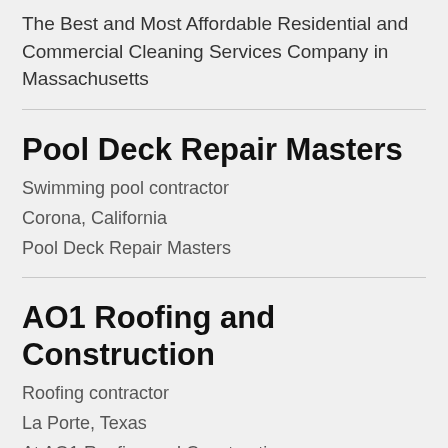The Best and Most Affordable Residential and Commercial Cleaning Services Company in Massachusetts
Pool Deck Repair Masters
Swimming pool contractor
Corona, California
Pool Deck Repair Masters
AO1 Roofing and Construction
Roofing contractor
La Porte, Texas
At AO1 Roofing and Construction, we serve our community through faith and